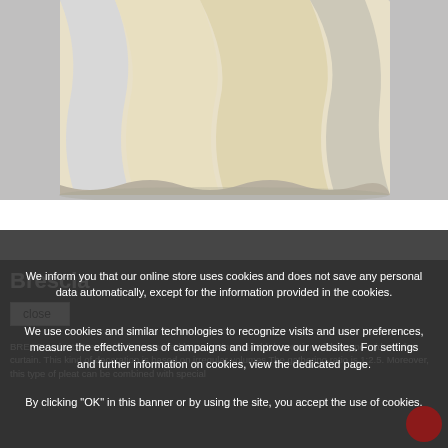[Figure (photo): Product photo showing bottom portion of a curtain with white/cream fabric folds against a light grey background]
Brescia
close
BRESCIA pleat. Brescia is characterised by a continuous fold decoration of the upper side of the curtain. This kind of decoration is based on irregular volumes The gathering ratio is 1:2.5. Moreover, this type of pleat can be combined with special
We inform you that our online store uses cookies and does not save any personal data automatically, except for the information provided in the cookies.
We use cookies and similar technologies to recognize visits and user preferences, measure the effectiveness of campaigns and improve our websites. For settings and further information on cookies, view the dedicated page.
By clicking "OK" in this banner or by using the site, you accept the use of cookies.